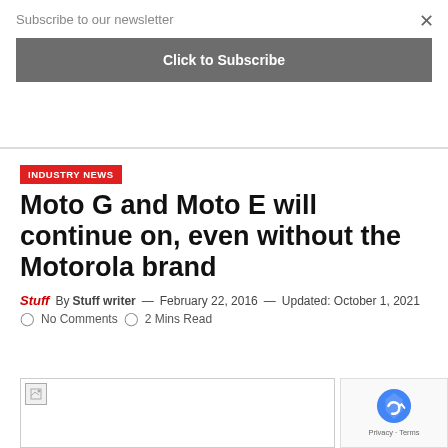Subscribe to our newsletter
Click to Subscribe
INDUSTRY NEWS
Moto G and Moto E will continue on, even without the Motorola brand
Stuff  By Stuff writer — February 22, 2016 — Updated: October 1, 2021  No Comments  2 Mins Read
[Figure (photo): Article image placeholder]